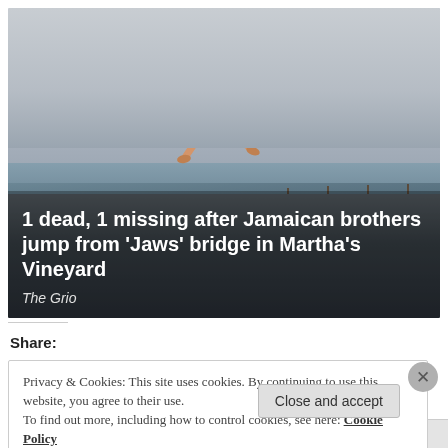[Figure (photo): A boy jumping from a bridge, photographed mid-air against an overcast sky with water and land in the background.]
1 dead, 1 missing after Jamaican brothers jump from 'Jaws' bridge in Martha's Vineyard
The Grio
Share:
Privacy & Cookies: This site uses cookies. By continuing to use this website, you agree to their use.
To find out more, including how to control cookies, see here: Cookie Policy
Close and accept
Follow